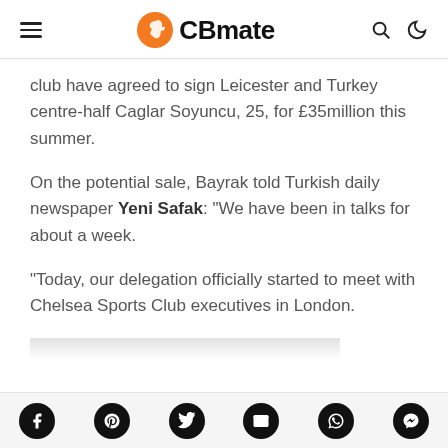CBmate
club have agreed to sign Leicester and Turkey centre-half Caglar Soyuncu, 25, for £35million this summer.
On the potential sale, Bayrak told Turkish daily newspaper Yeni Safak: “We have been in talks for about a week.
“Today, our delegation officially started to meet with Chelsea Sports Club executives in London.
Social share icons: Facebook, Pinterest, Twitter, Email, WhatsApp, Messenger